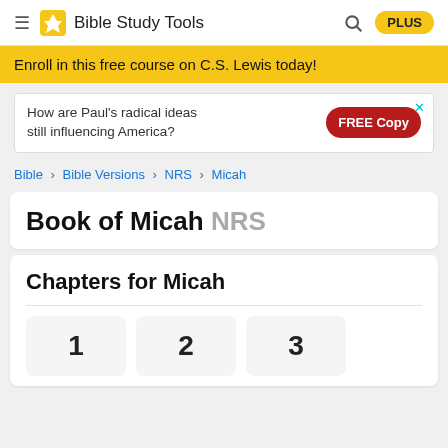Bible Study Tools
Enroll in this free course on C.S. Lewis today!
[Figure (screenshot): Advertisement banner: 'How are Paul's radical ideas still influencing America?' with a red FREE Copy button]
Bible > Bible Versions > NRS > Micah
Book of Micah NRS
Chapters for Micah
1  2  3